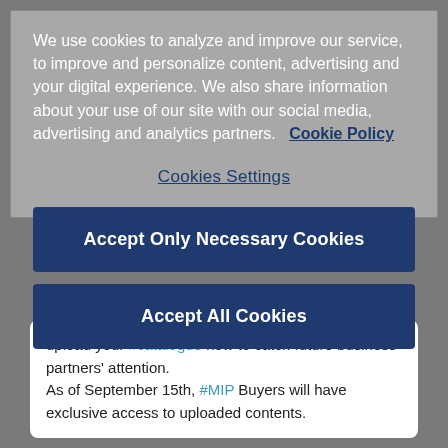We use cookies to analyze and improve our service, to improve and personalize content, advertising and your digital experience. We also share information about your use of our site with our social media, advertising and analytics partners.   Cookie Policy
Cookies Settings
Accept Only Necessary Cookies
Accept All Cookies
upload your #catalogue now to catch future business partners' attention.
As of September 15th, #MIP Buyers will have exclusive access to uploaded contents.